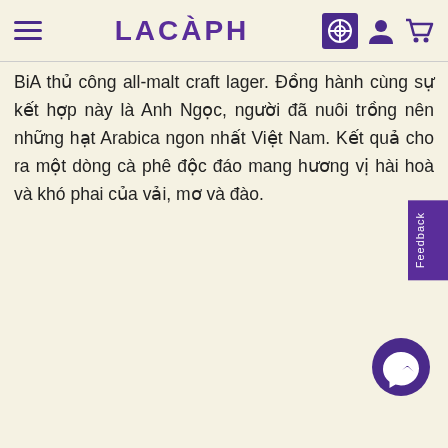LACÀPH
BiA thủ công all-malt craft lager. Đồng hành cùng sự kết hợp này là Anh Ngọc, người đã nuôi trồng nên những hạt Arabica ngon nhất Việt Nam. Kết quả cho ra một dòng cà phê độc đáo mang hương vị hài hoà và khó phai của vải, mơ và đào.